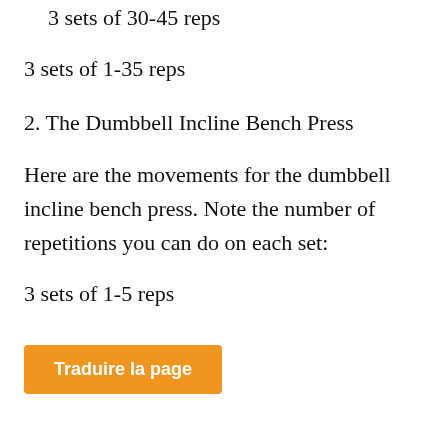3 sets of 30-45 reps
3 sets of 1-35 reps
2. The Dumbbell Incline Bench Press
Here are the movements for the dumbbell incline bench press. Note the number of repetitions you can do on each set:
3 sets of 1-5 reps
Traduire la page